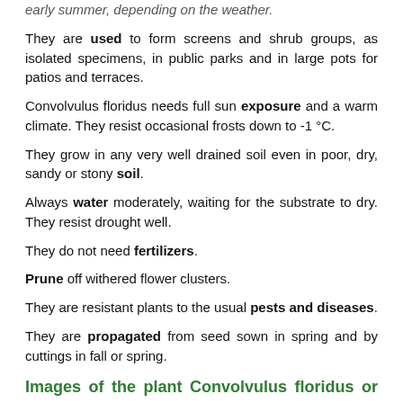early summer, depending on the weather.
They are used to form screens and shrub groups, as isolated specimens, in public parks and in large pots for patios and terraces.
Convolvulus floridus needs full sun exposure and a warm climate. They resist occasional frosts down to -1 °C.
They grow in any very well drained soil even in poor, dry, sandy or stony soil.
Always water moderately, waiting for the substrate to dry. They resist drought well.
They do not need fertilizers.
Prune off withered flower clusters.
They are resistant plants to the usual pests and diseases.
They are propagated from seed sown in spring and by cuttings in fall or spring.
Images of the plant Convolvulus floridus or Morning-glory-tree